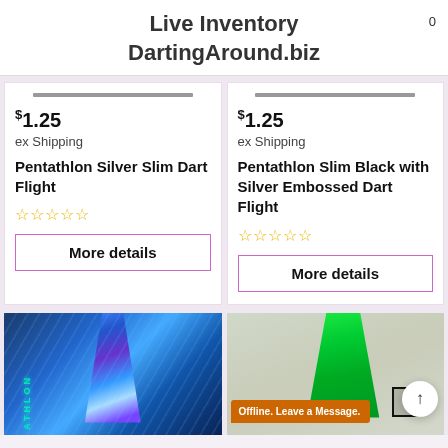Live Inventory
DartingAround.biz
$1.25
ex Shipping
Pentathlon Silver Slim Dart Flight
☆☆☆☆☆
More details
$1.25
ex Shipping
Pentathlon Slim Black with Silver Embossed Dart Flight
☆☆☆☆☆
More details
[Figure (photo): Blue holographic dart flight product image]
[Figure (photo): Green dart flight product image with Offline Leave a Message banner overlay]